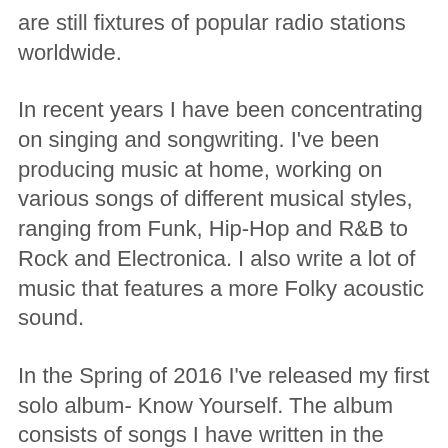are still fixtures of popular radio stations worldwide.
In recent years I have been concentrating on singing and songwriting. I've been producing music at home, working on various songs of different musical styles, ranging from Funk, Hip-Hop and R&B to Rock and Electronica. I also write a lot of music that features a more Folky acoustic sound.
In the Spring of 2016 I've released my first solo album- Know Yourself. The album consists of songs I have written in the past 15 years. It features a full band sound and moves between musical styles such as Rock, Reggae and Folk.
A year later I released my second solo project, entitled: Spiritual